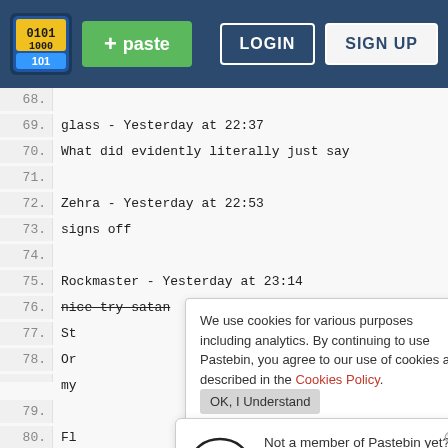[Figure (screenshot): Pastebin website header with logo, green paste button, LOGIN and SIGN UP buttons on dark blue background]
68.
69. glass - Yesterday at 22:37
70. What did evidently literally just say
71.
72. Zehra - Yesterday at 22:53
73. signs off
74.
75. Rockmaster - Yesterday at 23:14
76. >nice try satan
77. St
78. Or
    my
79.
80. Fl
81. he
82. at
83.
We use cookies for various purposes including analytics. By continuing to use Pastebin, you agree to our use of cookies as described in the Cookies Policy. OK, I Understand
Not a member of Pastebin yet? Sign Up, it unlocks many cool features!